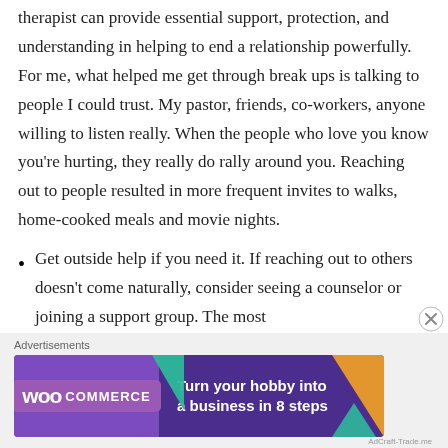therapist can provide essential support, protection, and understanding in helping to end a relationship powerfully. For me, what helped me get through break ups is talking to people I could trust. My pastor, friends, co-workers, anyone willing to listen really. When the people who love you know you're hurting, they really do rally around you. Reaching out to people resulted in more frequent invites to walks, home-cooked meals and movie nights.
Get outside help if you need it. If reaching out to others doesn't come naturally, consider seeing a counselor or joining a support group. The most
Advertisements
[Figure (other): WooCommerce advertisement banner with purple background, teal and orange triangle decorations, WooCommerce logo on the left, and tagline 'Turn your hobby into a business in 8 steps' on the right.]